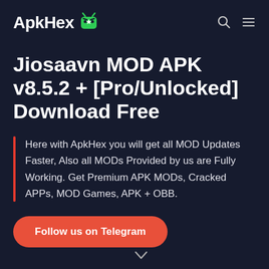ApkHex [logo icon]
Jiosaavn MOD APK v8.5.2 + [Pro/Unlocked] Download Free
Here with ApkHex you will get all MOD Updates Faster, Also all MODs Provided by us are Fully Working. Get Premium APK MODs, Cracked APPs, MOD Games, APK + OBB.
Follow us on Telegram